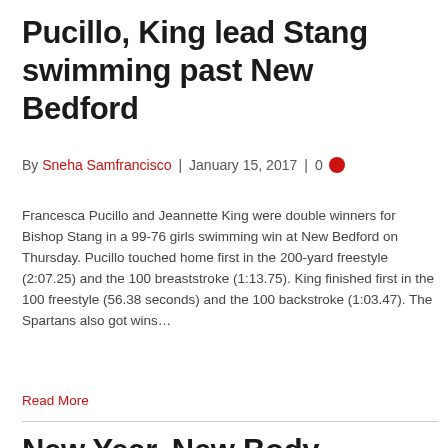Pucillo, King lead Stang swimming past New Bedford
By Sneha Samfrancisco | January 15, 2017 | 0
Francesca Pucillo and Jeannette King were double winners for Bishop Stang in a 99-76 girls swimming win at New Bedford on Thursday. Pucillo touched home first in the 200-yard freestyle (2:07.25) and the 100 breaststroke (1:13.75). King finished first in the 100 freestyle (56.38 seconds) and the 100 backstroke (1:03.47). The Spartans also got wins…
Read More
New Year, New Body Transformation Challenge